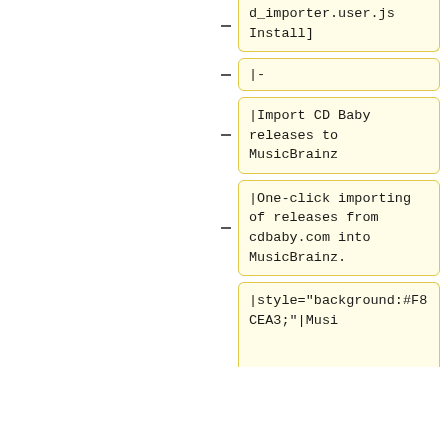d_importer.user.js Install]
|-
|Import CD Baby releases to MusicBrainz
|One-click importing of releases from cdbaby.com into MusicBrainz.
|style="background:#F8CEA3;"|Musi